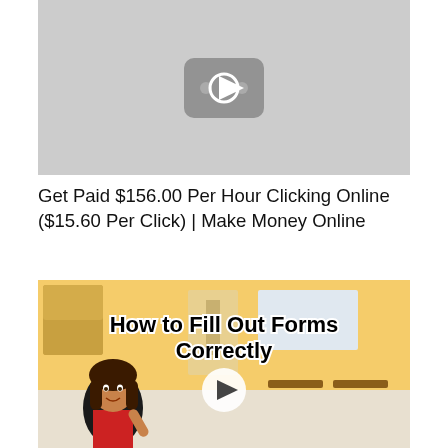[Figure (screenshot): Video thumbnail showing a gray YouTube-style play button icon on a light gray background]
Get Paid $156.00 Per Hour Clicking Online ($15.60 Per Click) | Make Money Online
[Figure (screenshot): Video thumbnail of a classroom scene with animated bitmoji character and text 'How to Fill Out Forms Correctly' with a play button overlay]